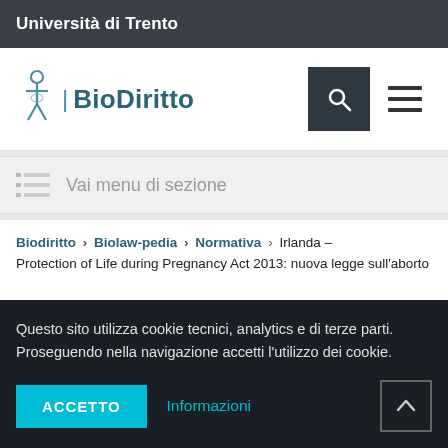Università di Trento
[Figure (logo): BioDiritto logo with stylized figure and DNA strand icon, text 'BioDiritto']
Vai menu di sezione
Biodiritto › Biolaw-pedia › Normativa › Irlanda – Protection of Life during Pregnancy Act 2013: nuova legge sull'aborto
Questo sito utilizza cookie tecnici, analytics e di terze parti. Proseguendo nella navigazione accetti l'utilizzo dei cookie.
ACCETTO   Informazioni